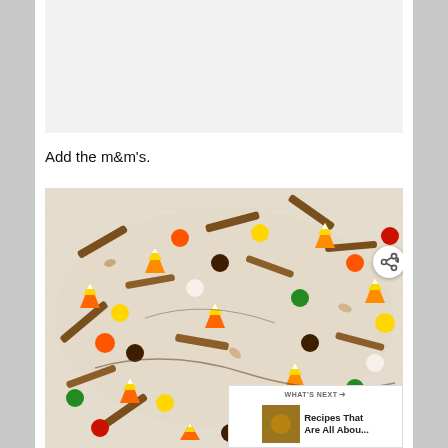[Figure (photo): White/light background area where previous step image was shown (mostly blank/white in this crop)]
Add the m&m's.
[Figure (photo): Close-up photo of white chocolate bark topped with M&Ms, candy corn, pretzel sticks, and other Halloween candies spread on a flat surface.]